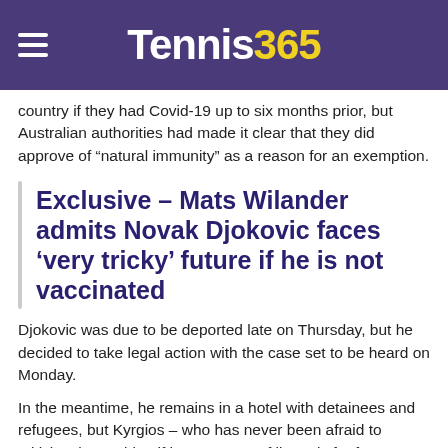Tennis365
country if they had Covid-19 up to six months prior, but Australian authorities had made it clear that they did approve of “natural immunity” as a reason for an exemption.
Exclusive – Mats Wilander admits Novak Djokovic faces ‘very tricky’ future if he is not vaccinated
Djokovic was due to be deported late on Thursday, but he decided to take legal action with the case set to be heard on Monday.
In the meantime, he remains in a hotel with detainees and refugees, but Kyrgios – who has never been afraid to criticise the Serbian if he steps out of line – is far from happy with the way Djokovic has been treated.